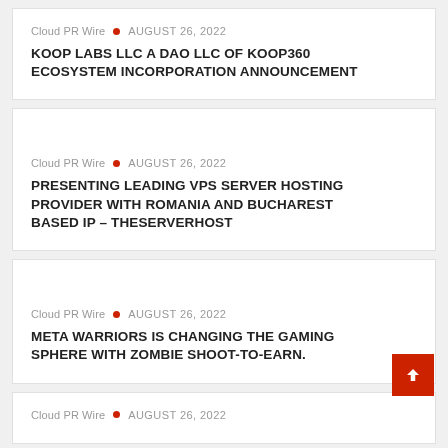Cloud PR Wire • AUGUST 26, 2022
KOOP LABS LLC A DAO LLC OF KOOP360 ECOSYSTEM INCORPORATION ANNOUNCEMENT
Cloud PR Wire • AUGUST 26, 2022
PRESENTING LEADING VPS SERVER HOSTING PROVIDER WITH ROMANIA AND BUCHAREST BASED IP – THESERVERHOST
Cloud PR Wire • AUGUST 26, 2022
META WARRIORS IS CHANGING THE GAMING SPHERE WITH ZOMBIE SHOOT-TO-EARN.
Cloud PR Wire • AUGUST 26, 2022